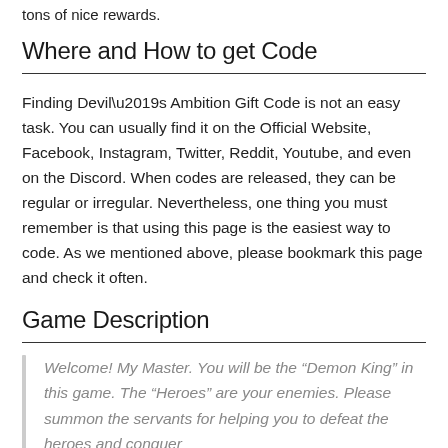tons of nice rewards.
Where and How to get Code
Finding Devil’s Ambition Gift Code is not an easy task. You can usually find it on the Official Website, Facebook, Instagram, Twitter, Reddit, Youtube, and even on the Discord. When codes are released, they can be regular or irregular. Nevertheless, one thing you must remember is that using this page is the easiest way to code. As we mentioned above, please bookmark this page and check it often.
Game Description
Welcome! My Master. You will be the “Demon King” in this game. The “Heroes” are your enemies. Please summon the servants for helping you to defeat the heroes and conquer